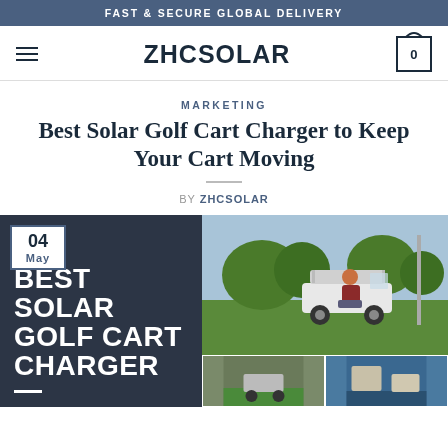FAST & SECURE GLOBAL DELIVERY
ZHCSOLAR
MARKETING
Best Solar Golf Cart Charger to Keep Your Cart Moving
BY ZHCSOLAR
[Figure (photo): Hero image showing a white golf cart on a green course with a person sitting on it, overlaid with dark panel showing text 'BEST SOLAR GOLF CART CHARGER', date badge '04 May', and bottom thumbnail strip]
04 May